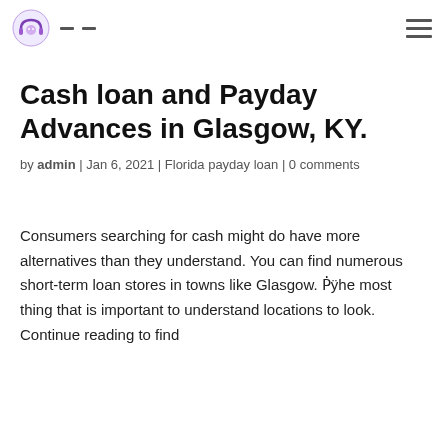[Logo] - - [hamburger menu]
Cash loan and Payday Advances in Glasgow, KY.
by admin | Jan 6, 2021 | Florida payday loan | 0 comments
Consumers searching for cash might do have more alternatives than they understand. You can find numerous short-term loan stores in towns like Glasgow. Ṗÿhe most thing that is important to understand locations to look. Continue reading to find out more about the best places to find a loan in...